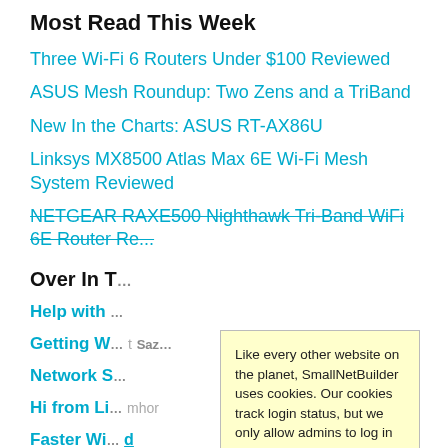Most Read This Week
Three Wi-Fi 6 Routers Under $100 Reviewed
ASUS Mesh Roundup: Two Zens and a TriBand
New In the Charts: ASUS RT-AX86U
Linksys MX8500 Atlas Max 6E Wi-Fi Mesh System Reviewed
NETGEAR RAXE500 Nighthawk Tri-Band WiFi 6E Router Re...
Over In T...
Help with ...
Getting W...
Network S...
Hi from Li...
Faster Wi...
Connectio...
Like every other website on the planet, SmallNetBuilder uses cookies. Our cookies track login status, but we only allow admins to log in anyway, so those don't apply to you. Any other cookies you pick up during your visit come from advertisers, which we don't control.
If you continue to use the site, you agree to tolerate our use of cookies. Thank you!